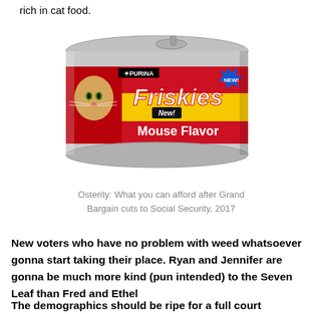rich in cat food.
[Figure (photo): A can of Purina Friskies cat food with a red and yellow label showing a kitten and the text 'Friskies New! Mouse Flavor' with a 'NEW!' starburst badge]
Osterity: What you can afford after Grand Bargain cuts to Social Security, 2017
New voters who have no problem with weed whatsoever gonna start taking their place. Ryan and Jennifer are gonna be much more kind (pun intended) to the Seven Leaf than Fred and Ethel
The demographics should be ripe for a full court